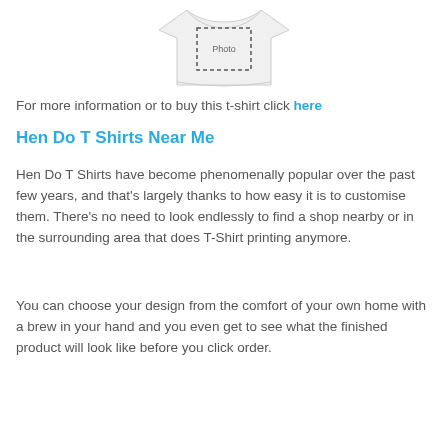[Figure (illustration): Partial view of a white t-shirt with a dashed photo placeholder box printed on the front]
For more information or to buy this t-shirt click here
Hen Do T Shirts Near Me
Hen Do T Shirts have become phenomenally popular over the past few years, and that’s largely thanks to how easy it is to customise them. There’s no need to look endlessly to find a shop nearby or in the surrounding area that does T-Shirt printing anymore.
You can choose your design from the comfort of your own home with a brew in your hand and you even get to see what the finished product will look like before you click order.